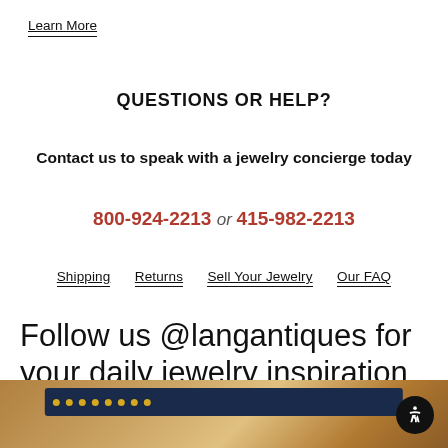Learn More
QUESTIONS OR HELP?
Contact us to speak with a jewelry concierge today
800-924-2213 or 415-982-2213
Shipping  Returns  Sell Your Jewelry  Our FAQ
Follow us @langantiques for your daily jewelry inspiration
[Figure (photo): Partial photo of jewelry or leather strap with gold studs on dark blue background]